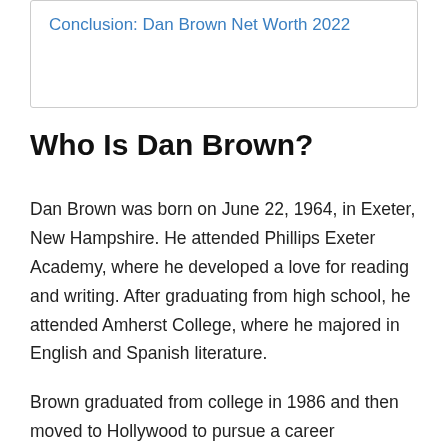Conclusion: Dan Brown Net Worth 2022
Who Is Dan Brown?
Dan Brown was born on June 22, 1964, in Exeter, New Hampshire. He attended Phillips Exeter Academy, where he developed a love for reading and writing. After graduating from high school, he attended Amherst College, where he majored in English and Spanish literature.
Brown graduated from college in 1986 and then moved to Hollywood to pursue a career